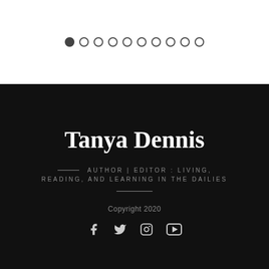[Figure (other): Pagination dots: one filled dark circle followed by nine empty circles]
Tanya Dennis
AUTHOR | EDITOR : LIVING, READING, AND LEARNING IN THE DAILIES
Copyright 2020
[Figure (other): Social media icons: Facebook, Twitter, Instagram, YouTube]